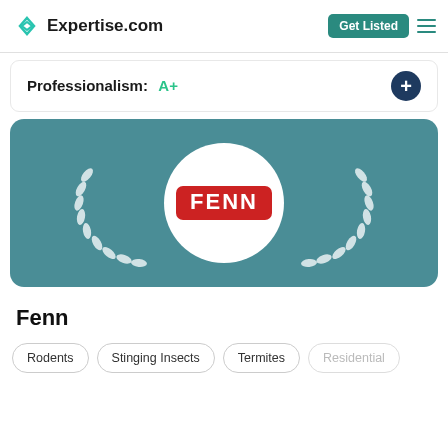Expertise.com | Get Listed
Professionalism: A+
[Figure (logo): Fenn company award badge on teal background with laurel wreath and FENN logo in white circle]
Fenn
Rodents
Stinging Insects
Termites
Residential